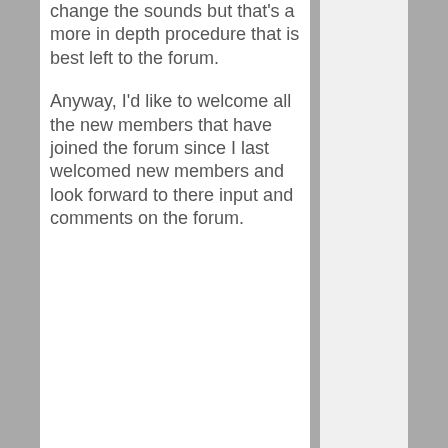change the sounds but that's a more in depth procedure that is best left to the forum.
Anyway, I'd like to welcome all the new members that have joined the forum since I last welcomed new members and look forward to there input and comments on the forum.